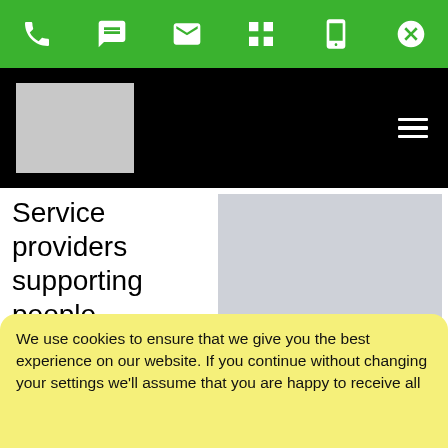[green toolbar with phone, chat, email, grid, mobile, close icons]
[Figure (screenshot): Black navigation bar with grey logo placeholder on left and hamburger menu icon on right]
Service providers supporting people experiencing homelessness
[Figure (photo): Grey image placeholder rectangle]
have already begun to struggle over the COVID-19 pandemic.
We use cookies to ensure that we give you the best experience on our website. If you continue without changing your settings we'll assume that you are happy to receive all